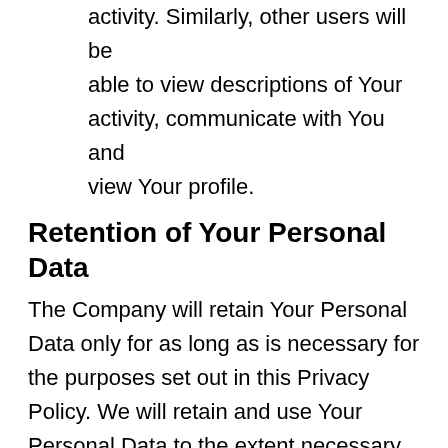activity. Similarly, other users will be able to view descriptions of Your activity, communicate with You and view Your profile.
Retention of Your Personal Data
The Company will retain Your Personal Data only for as long as is necessary for the purposes set out in this Privacy Policy. We will retain and use Your Personal Data to the extent necessary to comply with our legal obligations (for example, if we are required to retain your data to comply with applicable laws), resolve disputes, and enforce our legal agreements and policies.
The Company will also retain Usage Data for